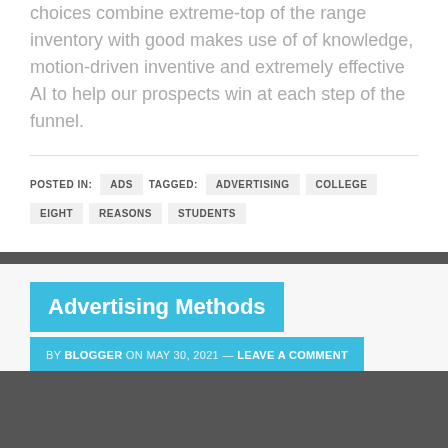choices combine extreme-top of the range inventory with good makes use of of knowledge, motion-driven inventive and extremely effective AI to help our prospects win at each step of the funnel.
POSTED IN: ADS   TAGGED: ADVERTISING   COLLEGE   EIGHT   REASONS   STUDENTS
Advertising Methods
BY BLOGGER ON MAY 30, 2021 — LEAVE A COMMENT